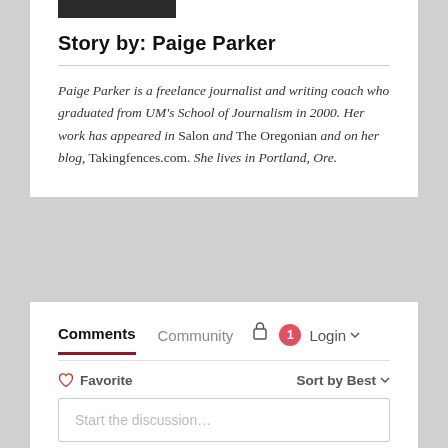[Figure (photo): Partial photo of Paige Parker, dark background, cropped at top]
Story by: Paige Parker
Paige Parker is a freelance journalist and writing coach who graduated from UM's School of Journalism in 2000. Her work has appeared in Salon and The Oregonian and on her blog, Takingfences.com. She lives in Portland, Ore.
Comments  Community  [lock icon]  [1 notification]  Login ▾
♡ Favorite    Sort by Best ▾
Start the discussion…
LOG IN WITH